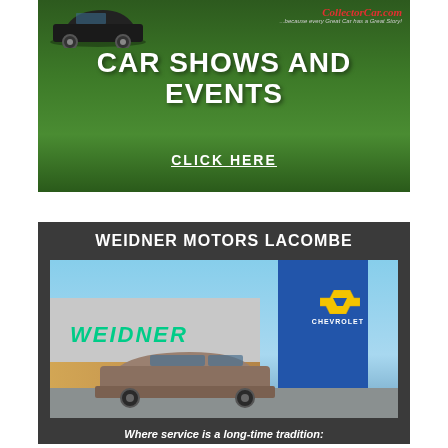[Figure (illustration): CollectorCar.com banner advertisement for Car Shows and Events with a dark green grassy background and classic car silhouette, featuring a 'CLICK HERE' call to action link]
[Figure (photo): Weidner Motors Lacombe advertisement showing the Chevrolet dealership building exterior with a pickup truck in the foreground, featuring 'WEIDNER MOTORS LACOMBE' title and tagline 'Where service is a long-time tradition']